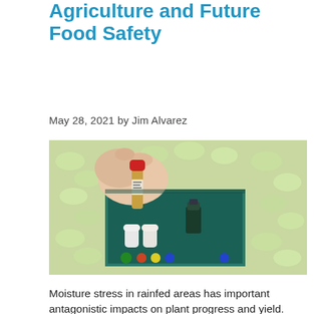AI in Improving Rainfed Agriculture and Future Food Safety
May 28, 2021 by Jim Alvarez
[Figure (photo): A hand holding a small vial with a red cap containing a liquid sample, with lab supplies and foam packing peanuts visible in the background inside a teal box.]
Moisture stress in rainfed areas has important antagonistic impacts on plant progress and yield. Plant progress selling